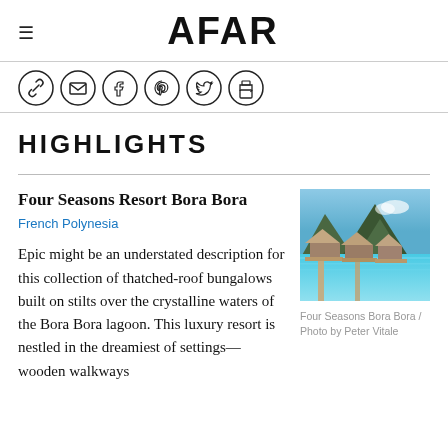AFAR
[Figure (other): Social sharing icons: link, email, Facebook, Pinterest, Twitter, print]
HIGHLIGHTS
Four Seasons Resort Bora Bora
French Polynesia
Epic might be an understated description for this collection of thatched-roof bungalows built on stilts over the crystalline waters of the Bora Bora lagoon. This luxury resort is nestled in the dreamiest of settings—wooden walkways
[Figure (photo): Photo of Four Seasons Bora Bora resort showing thatched-roof bungalows over turquoise water with a mountainous backdrop]
Four Seasons Bora Bora / Photo by Peter Vitale